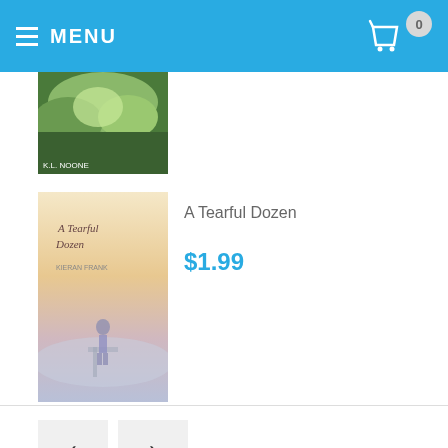MENU
[Figure (photo): Book cover - forest/nature scene by K.L. Noone, partially visible at top]
[Figure (photo): Book cover for 'A Tearful Dozen' by Kieran Frank - person standing on dock in misty scene]
A Tearful Dozen
$1.99
< >
VIEW MORE